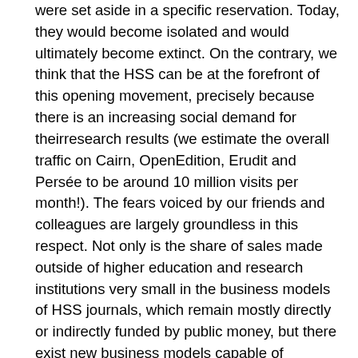were set aside in a specific reservation. Today, they would become isolated and would ultimately become extinct. On the contrary, we think that the HSS can be at the forefront of this opening movement, precisely because there is an increasing social demand for theirresearch results (we estimate the overall traffic on Cairn, OpenEdition, Erudit and Persée to be around 10 million visits per month!). The fears voiced by our friends and colleagues are largely groundless in this respect. Not only is the share of sales made outside of higher education and research institutions very small in the business models of HSS journals, which remain mostly directly or indirectly funded by public money, but there exist new business models capable of reinforcing the position of publishers without having the authors pay, as is demonstrated by the success of the Freemium programme developed by OpenEdition, a French initiative. Solutions to finance a high-quality open digital publication system are being invented and have started to prove their efficiency, as in the cases of Scielo, the Public Library of Science (PLOS), Redalyc or OpenEdition. It would be a disaster if the HSS were kept aside